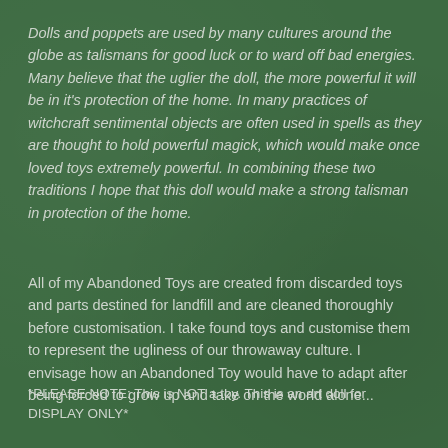Dolls and poppets are used by many cultures around the globe as talismans for good luck or to ward off bad energies. Many believe that the uglier the doll, the more powerful it will be in it's protection of the home. In many practices of witchcraft sentimental objects are often used in spells as they are thought to hold powerful magick, which would make once loved toys extremely powerful. In combining these two traditions I hope that this doll would make a strong talisman in protection of the home.
All of my Abandoned Toys are created from discarded toys and parts destined for landfill and are cleaned thoroughly before customisation. I take found toys and customise them to represent the ugliness of our throwaway culture. I envisage how an Abandoned Toy would have to adapt after being forced to grow up and take on the world alone...
*PLEASE NOTE: This is NOT a toy. This is an art doll for DISPLAY ONLY*